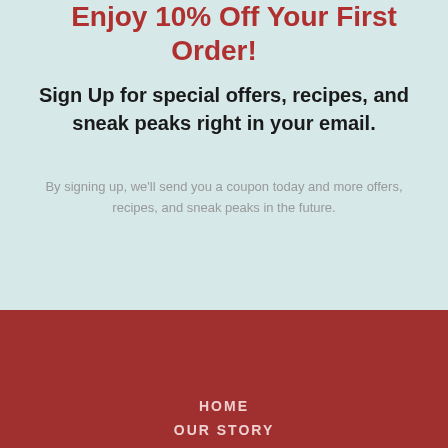Enjoy 10% Off Your First Order!
Sign Up for special offers, recipes, and sneak peaks right in your email.
By signing up, we'll send you a coupon today and more offers, recipes, and sneak peaks in the future.
HOME
OUR STORY